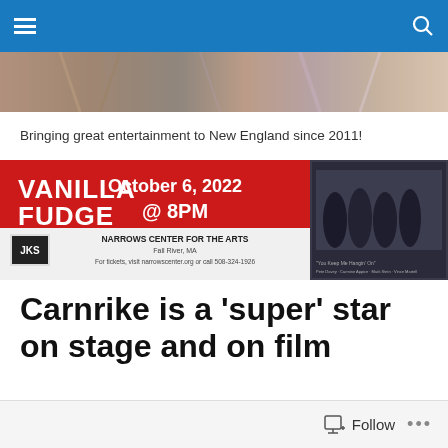Navigation bar with menu and search icons
[Figure (photo): Colorful header image strip showing blurred hair/performance imagery]
Bringing great entertainment to New England since 2011!
[Figure (infographic): Vanilla Fudge concert advertisement: October 6, 2022 @ 8PM at Narrows Center for the Arts, Fall River, MA. For tickets, visit narrowscenter.org or call 508-324-1926. Band photo on right side.]
Carnrike is a ‘super’ star on stage and on film
Follow ...